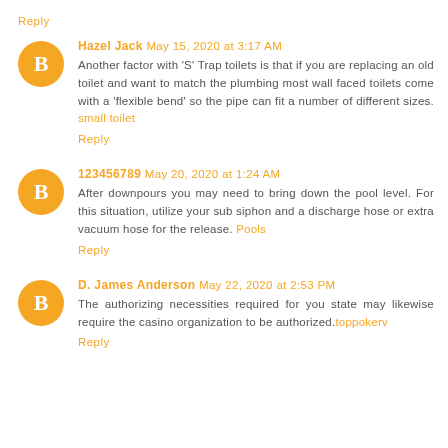Reply
Hazel Jack May 15, 2020 at 3:17 AM
Another factor with 'S' Trap toilets is that if you are replacing an old toilet and want to match the plumbing most wall faced toilets come with a 'flexible bend' so the pipe can fit a number of different sizes. small toilet
Reply
123456789 May 20, 2020 at 1:24 AM
After downpours you may need to bring down the pool level. For this situation, utilize your sub siphon and a discharge hose or extra vacuum hose for the release. Pools
Reply
D. James Anderson May 22, 2020 at 2:53 PM
The authorizing necessities required for you state may likewise require the casino organization to be authorized.toppokerv
Reply